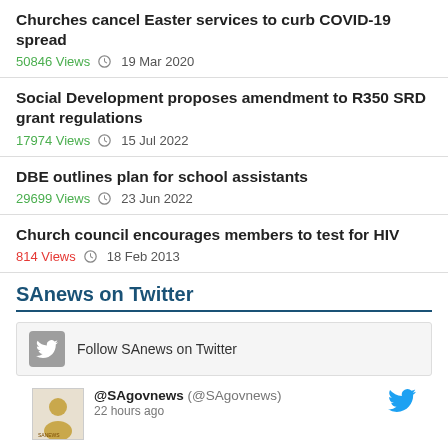Churches cancel Easter services to curb COVID-19 spread
50846 Views  19 Mar 2020
Social Development proposes amendment to R350 SRD grant regulations
17974 Views  15 Jul 2022
DBE outlines plan for school assistants
29699 Views  23 Jun 2022
Church council encourages members to test for HIV
814 Views  18 Feb 2013
SAnews on Twitter
Follow SAnews on Twitter
@SAgovnews (@SAgovnews) 22 hours ago
FEATURE #WomensMonth | Finding strength in femininity
While it is important to assert one's worth and capabilities